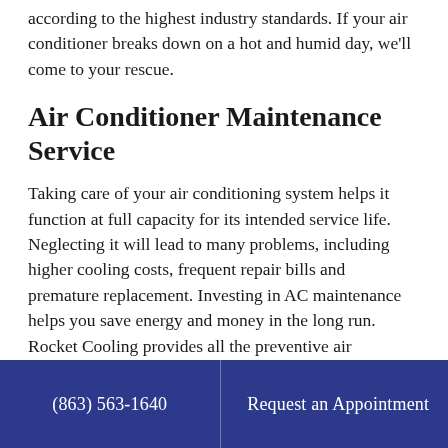according to the highest industry standards. If your air conditioner breaks down on a hot and humid day, we'll come to your rescue.
Air Conditioner Maintenance Service
Taking care of your air conditioning system helps it function at full capacity for its intended service life. Neglecting it will lead to many problems, including higher cooling costs, frequent repair bills and premature replacement. Investing in AC maintenance helps you save energy and money in the long run. Rocket Cooling provides all the preventive air conditioner maintenance services you need to protect your AC system from damage. We
(863) 563-1640   Request an Appointment